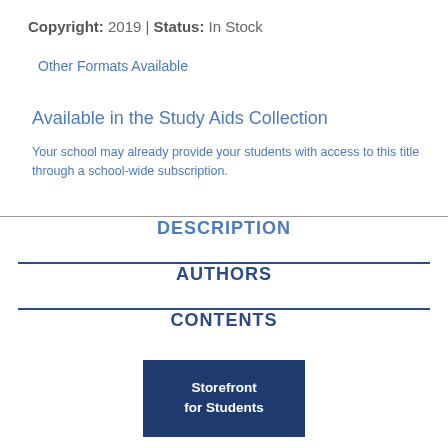Copyright: 2019 | Status: In Stock
Other Formats Available
Available in the Study Aids Collection
Your school may already provide your students with access to this title through a school-wide subscription.
DESCRIPTION
AUTHORS
CONTENTS
Storefront for Students